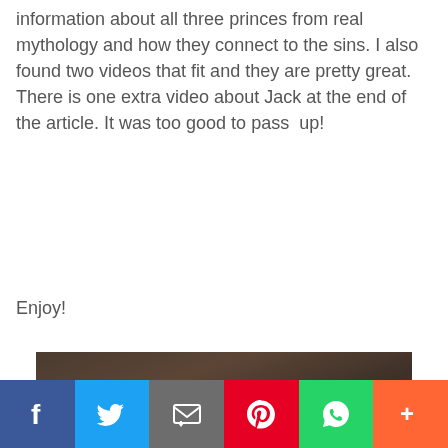information about all three princes from real mythology and how they connect to the sins. I also found two videos that fit and they are pretty great. There is one extra video about Jack at the end of the article. It was too good to pass  up!
Enjoy!
[Figure (photo): A middle-aged man with slicked-back hair and a beard smiling, with glowing yellow eyes suggesting a supernatural character, against a dark moody background.]
Social share bar with Facebook, Twitter, Email, Pinterest, WhatsApp, and More buttons